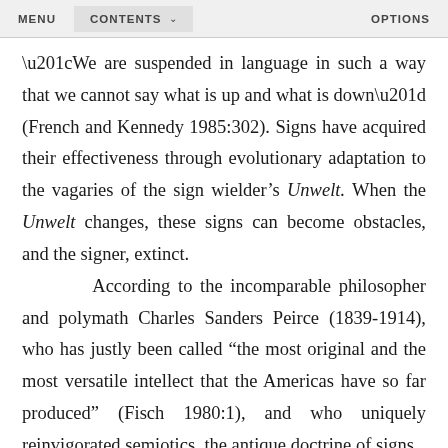MENU   CONTENTS   OPTIONS
“We are suspended in language in such a way that we cannot say what is up and what is down” (French and Kennedy 1985:302). Signs have acquired their effectiveness through evolutionary adaptation to the vagaries of the sign wielder’s Unwelt. When the Unwelt changes, these signs can become obstacles, and the signer, extinct.

According to the incomparable philosopher and polymath Charles Sanders Peirce (1839-1914), who has justly been called “the most original and the most versatile intellect that the Americas have so far produced” (Fisch 1980:1), and who uniquely reinvigorated semiotics, the antique doctrine of signs,